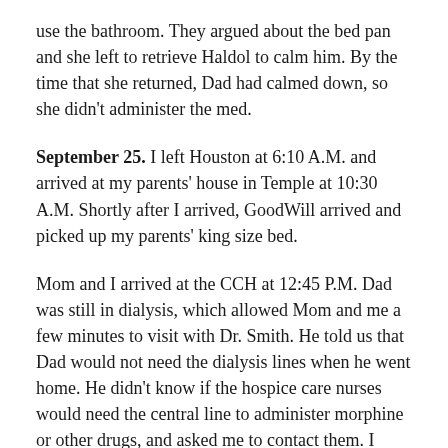use the bathroom. They argued about the bed pan and she left to retrieve Haldol to calm him. By the time that she returned, Dad had calmed down, so she didn't administer the med.
September 25. I left Houston at 6:10 A.M. and arrived at my parents' house in Temple at 10:30 A.M. Shortly after I arrived, GoodWill arrived and picked up my parents' king size bed.
Mom and I arrived at the CCH at 12:45 P.M. Dad was still in dialysis, which allowed Mom and me a few minutes to visit with Dr. Smith. He told us that Dad would not need the dialysis lines when he went home. He didn't know if the hospice care nurses would need the central line to administer morphine or other drugs, and asked me to contact them. I texted Sheila at Interim, and she